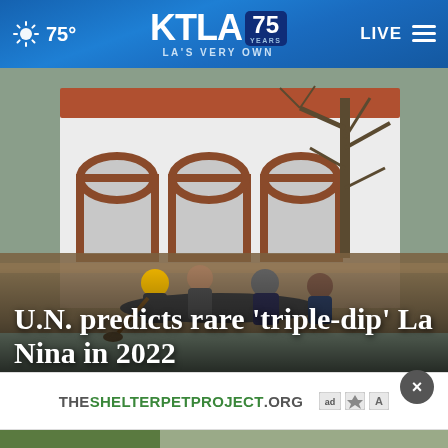KTLA 75 Years — LA's Very Own | 75° | LIVE
[Figure (photo): Flood scene: people sitting on a kayak/boat in floodwaters in front of a white Spanish-style house with red-brick arched porch and terracotta roof, surrounded by murky brown water and bare trees.]
U.N. predicts rare 'triple-dip' La Nina in 2022
[Figure (infographic): Advertisement banner for THESHELTERPETPROJECT.ORG with ad council logos]
[Figure (photo): Partial thumbnail image visible at bottom of page]